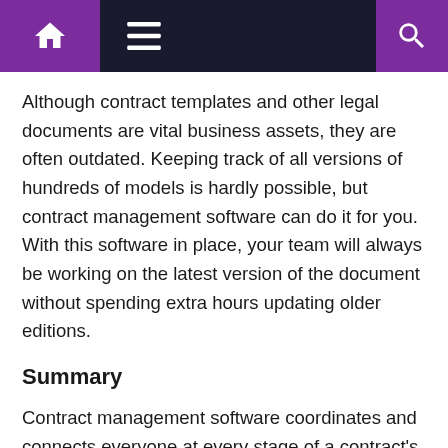Navigation bar with home, menu, and search icons
Although contract templates and other legal documents are vital business assets, they are often outdated. Keeping track of all versions of hundreds of models is hardly possible, but contract management software can do it for you. With this software in place, your team will always be working on the latest version of the document without spending extra hours updating older editions.
Summary
Contract management software coordinates and connects everyone at every stage of a contract's lifecycle, establishing a digital hub for cross-departmental collaboration and document metadata. Thus, legal teams can build a cohesive knowledge ecosystem and increase their value in the business, enabling companies to meet their